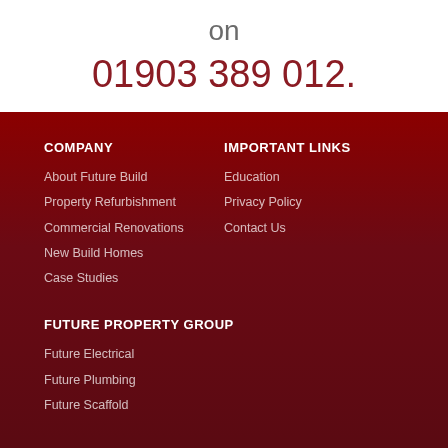on
01903 389 012.
COMPANY
About Future Build
Property Refurbishment
Commercial Renovations
New Build Homes
Case Studies
IMPORTANT LINKS
Education
Privacy Policy
Contact Us
FUTURE PROPERTY GROUP
Future Electrical
Future Plumbing
Future Scaffold